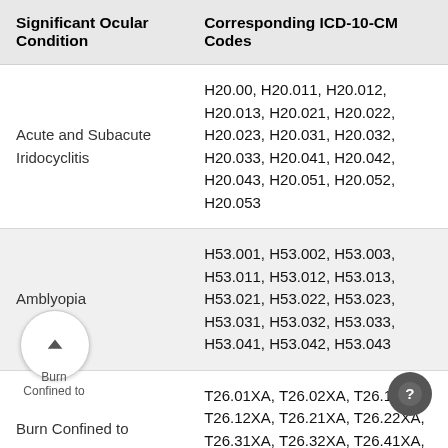| Significant Ocular Condition | Corresponding ICD-10-CM Codes |
| --- | --- |
| Acute and Subacute Iridocyclitis | H20.00, H20.011, H20.012, H20.013, H20.021, H20.022, H20.023, H20.031, H20.032, H20.033, H20.041, H20.042, H20.043, H20.051, H20.052, H20.053 |
| Amblyopia | H53.001, H53.002, H53.003, H53.011, H53.012, H53.013, H53.021, H53.022, H53.023, H53.031, H53.032, H53.033, H53.041, H53.042, H53.043 |
| Burn Confined to | T26.01XA, T26.02XA, T26.11XA, T26.12XA, T26.21XA, T26.22XA, T26.31XA, T26.32XA, T26.41XA, T26.42XA, T26.51XA, T26.52XA |